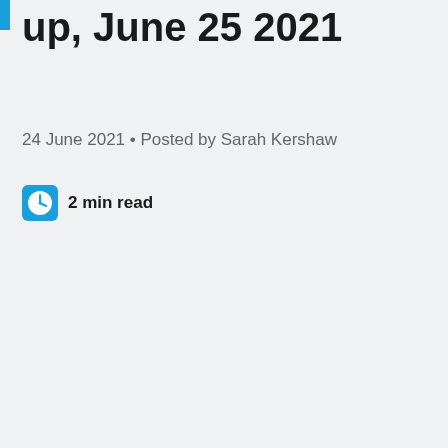up, June 25 2021
24 June 2021 • Posted by Sarah Kershaw
2 min read